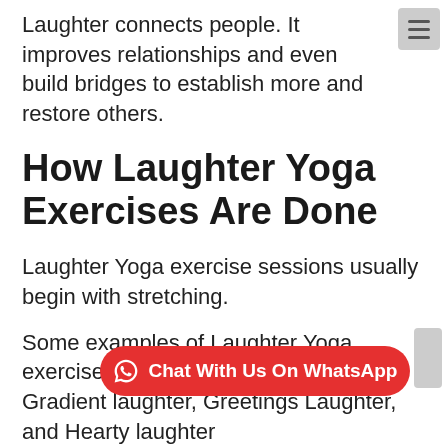Laughter connects people. It improves relationships and even build bridges to establish more and restore others.
How Laughter Yoga Exercises Are Done
Laughter Yoga exercise sessions usually begin with stretching.
Some examples of Laughter Yoga exercises are the Cellphone laughter, Gradient laughter, Greetings Laughter, and Hearty laughter
Each ex... and body movements that help break
Chat With Us On WhatsApp